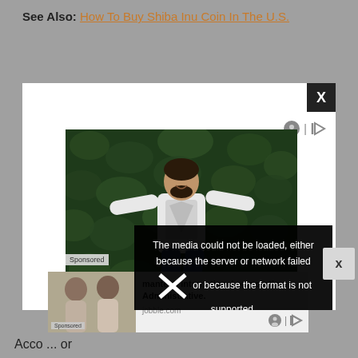See Also: How To Buy Shiba Inu Coin In The U.S.
[Figure (screenshot): Advertisement box with a man jumping in front of a green leafy wall. Contains a close X button, ad icons, a Sponsored label, and partial text 'Looking for M...' An embedded media error popup reads: The media could not be loaded, either because the server or network failed or because the format is not supported.]
[Figure (screenshot): Bottom advertisement showing mantech international corporation Administrative listing on jobble.com with Sponsored label and two people in background image.]
Acco... or